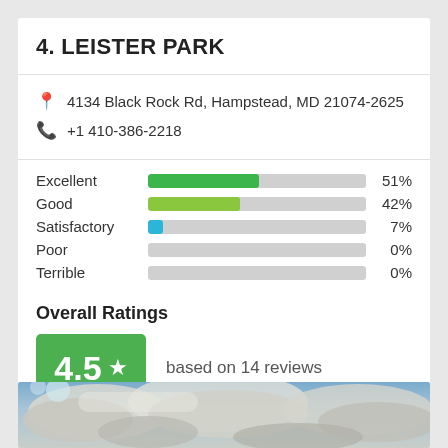4. LEISTER PARK
4134 Black Rock Rd, Hampstead, MD 21074-2625
+1 410-386-2218
[Figure (bar-chart): Rating distribution]
Overall Ratings
4.5 ★ based on 14 reviews
[Figure (photo): Sky with clouds — park photo]